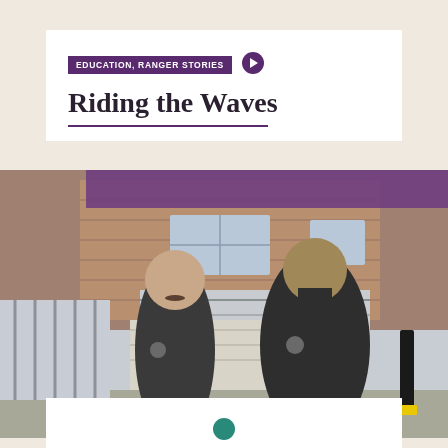EDUCATION, RANGER STORIES
Riding the Waves
[Figure (photo): Two park rangers in dark uniforms standing outdoors in front of a brick building with metal railings and a boat ramp, smiling at the camera. A purple banner overlay appears at the top of the photo.]